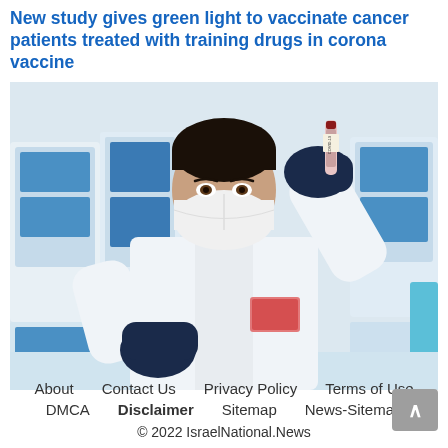New study gives green light to vaccinate cancer patients treated with training drugs in corona vaccine
[Figure (photo): A researcher in a white lab coat and black gloves holds up a small vial labeled COVID-19, wearing a white N95 face mask, with laboratory equipment in the background.]
About   Contact Us   Privacy Policy   Terms of Use   DMCA   Disclaimer   Sitemap   News-Sitemap   © 2022 IsraelNational.News